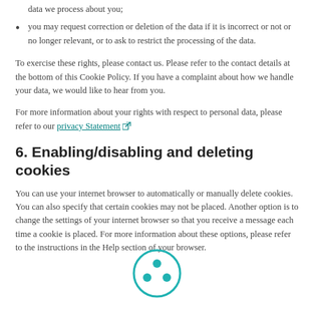data we process about you;
you may request correction or deletion of the data if it is incorrect or not or no longer relevant, or to ask to restrict the processing of the data.
To exercise these rights, please contact us. Please refer to the contact details at the bottom of this Cookie Policy. If you have a complaint about how we handle your data, we would like to hear from you.
For more information about your rights with respect to personal data, please refer to our privacy Statement
6. Enabling/disabling and deleting cookies
You can use your internet browser to automatically or manually delete cookies. You can also specify that certain cookies may not be placed. Another option is to change the settings of your internet browser so that you receive a message each time a cookie is placed. For more information about these options, please refer to the instructions in the Help section of your browser.